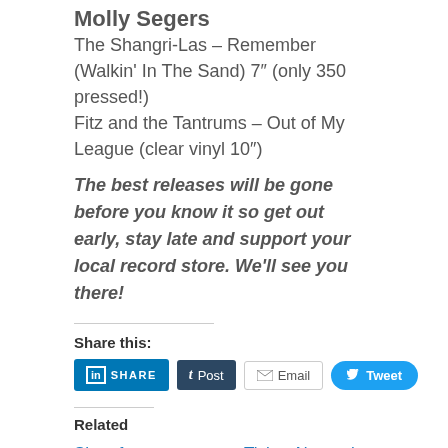Molly Segers
The Shangri-Las – Remember (Walkin' In The Sand) 7″ (only 350 pressed!)
Fitz and the Tantrums – Out of My League (clear vinyl 10″)
The best releases will be gone before you know it so get out early, stay late and support your local record store. We'll see you there!
Share this:
[Figure (infographic): Social share buttons: LinkedIn SHARE, Tumblr Post, Email, Tweet]
Related
Shop for Awesome Records on Small…
Ticket Alternative Welcomes Criminal…